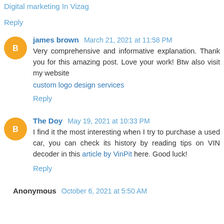Digital Marketing In Vizag
Reply
james brown  March 21, 2021 at 11:58 PM
Very comprehensive and informative explanation. Thank you for this amazing post. Love your work! Btw also visit my website
custom logo design services
Reply
The Doy  May 19, 2021 at 10:33 PM
I find it the most interesting when I try to purchase a used car, you can check its history by reading tips on VIN decoder in this article by VinPit here. Good luck!
Reply
Anonymous  October 6, 2021 at 5:50 AM